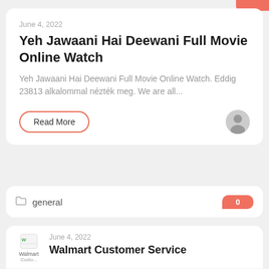June 4, 2022
Yeh Jawaani Hai Deewani Full Movie Online Watch
Yeh Jawaani Hai Deewani Full Movie Online Watch. Eddig 23813 alkalommal nézték meg. We are all...
Read More
general
0
June 4, 2022
Walmart Customer Service